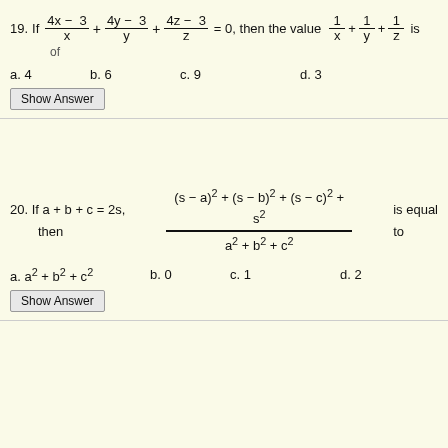a. 4    b. 6    c. 9    d. 3
Show Answer
a. a² + b² + c²    b. 0    c. 1    d. 2
Show Answer